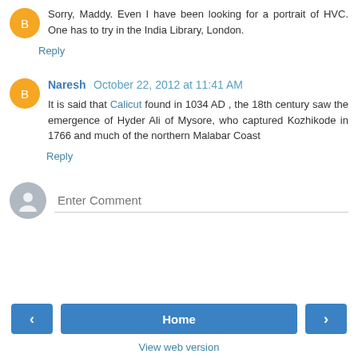Sorry, Maddy. Even I have been looking for a portrait of HVC. One has to try in the India Library, London.
Reply
Naresh  October 22, 2012 at 11:41 AM
It is said that Calicut found in 1034 AD , the 18th century saw the emergence of Hyder Ali of Mysore, who captured Kozhikode in 1766 and much of the northern Malabar Coast
Reply
Enter Comment
Home
View web version